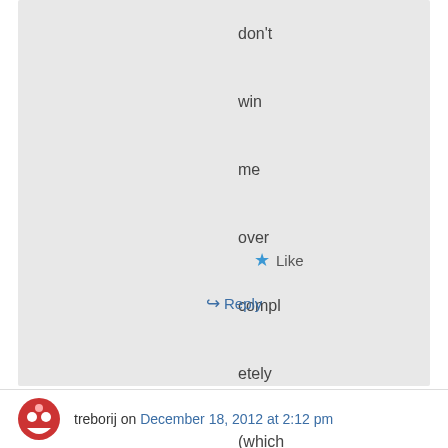don't win me over completely (which they often do).
Like
Reply
treborij on December 18, 2012 at 2:12 pm